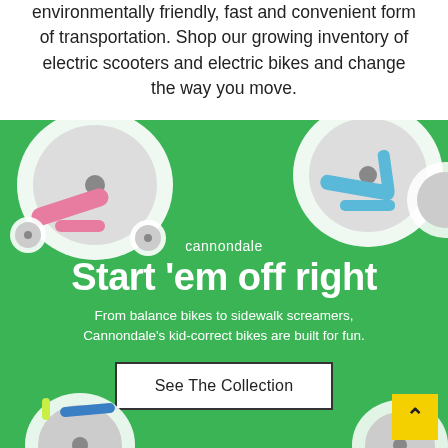environmentally friendly, fast and convenient form of transportation. Shop our growing inventory of electric scooters and electric bikes and change the way you move.
[Figure (photo): Cannondale kids bike advertisement on green background. Shows colorful children's bikes (pink with training wheels, blue BMX style) arranged around central text. Text reads: cannondale / Start 'em off right / From balance bikes to sidewalk screamers, Cannondale's kid-correct bikes are built for fun. / See The Collection button. Yellow scroll-to-top arrow in bottom right corner.]